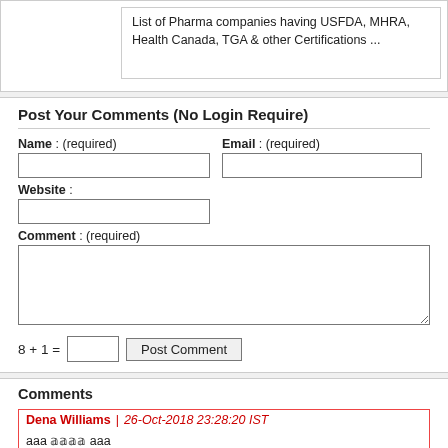List of Pharma companies having USFDA, MHRA, Health Canada, TGA & other Certifications ...
Post Your Comments (No Login Require)
Name : (required)
Email : (required)
Website :
Comment : (required)
8  + 1 =
Comments
Dena Williams  |  26-Oct-2018 23:28:20 IST
aaa 𝕒𝕒𝕒𝕒 aaa